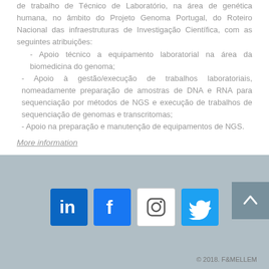de trabalho de Técnico de Laboratório, na área de genética humana, no âmbito do Projeto Genoma Portugal, do Roteiro Nacional das infraestruturas de Investigação Científica, com as seguintes atribuições:
- Apoio técnico a equipamento laboratorial na área da biomedicina do genoma;
- Apoio à gestão/execução de trabalhos laboratoriais, nomeadamente preparação de amostras de DNA e RNA para sequenciação por métodos de NGS e execução de trabalhos de sequenciação de genomas e transcritomas;
- Apoio na preparação e manutenção de equipamentos de NGS.
More information
[Figure (infographic): Footer with social media icons: LinkedIn, Facebook, Instagram, Twitter, a back-to-top button, and copyright text '© 2018. F&MELLEM']